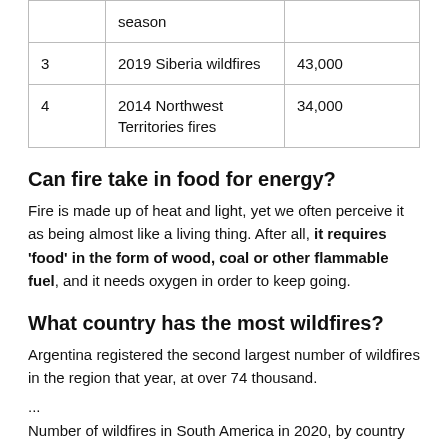|  |  |  |
| --- | --- | --- |
|  | season |  |
| 3 | 2019 Siberia wildfires | 43,000 |
| 4 | 2014 Northwest Territories fires | 34,000 |
Can fire take in food for energy?
Fire is made up of heat and light, yet we often perceive it as being almost like a living thing. After all, it requires 'food' in the form of wood, coal or other flammable fuel, and it needs oxygen in order to keep going.
What country has the most wildfires?
Argentina registered the second largest number of wildfires in the region that year, at over 74 thousand.
...
Number of wildfires in South America in 2020, by country or territory.